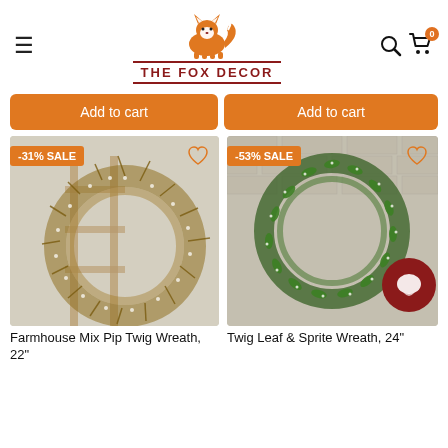THE FOX DECOR — navigation header with logo, hamburger menu, search and cart icons
Add to cart (left button)
Add to cart (right button)
[Figure (photo): Farmhouse Mix Pip Twig Wreath on a wooden ladder with -31% SALE badge]
[Figure (photo): Twig Leaf & Sprite Wreath on brick wall with -53% SALE badge]
Farmhouse Mix Pip Twig Wreath, 22"
Twig Leaf & Sprite Wreath, 24"